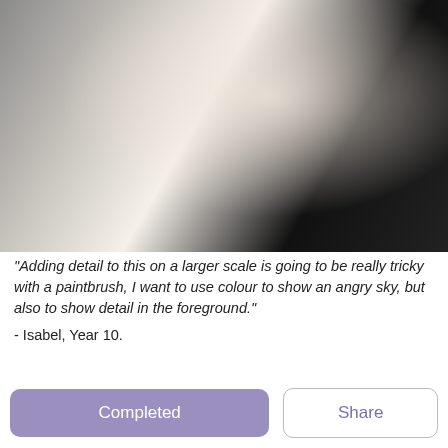[Figure (photo): A student's hands working on a sketchbook/art portfolio, smudging a charcoal or pencil drawing. The student wears a black top and holds an orange pencil. Open sketchbook shows pencil sketches and a reference photo of purple flowers.]
"Adding detail to this on a larger scale is going to be really tricky with a paintbrush, I want to use colour to show an angry sky, but also to show detail in the foreground."

- Isabel, Year 10.